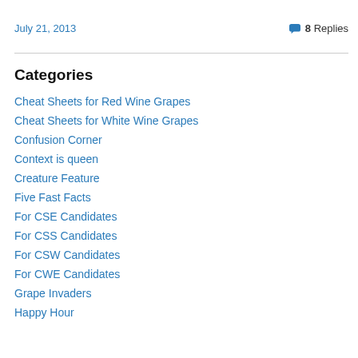July 21, 2013
8 Replies
Categories
Cheat Sheets for Red Wine Grapes
Cheat Sheets for White Wine Grapes
Confusion Corner
Context is queen
Creature Feature
Five Fast Facts
For CSE Candidates
For CSS Candidates
For CSW Candidates
For CWE Candidates
Grape Invaders
Happy Hour